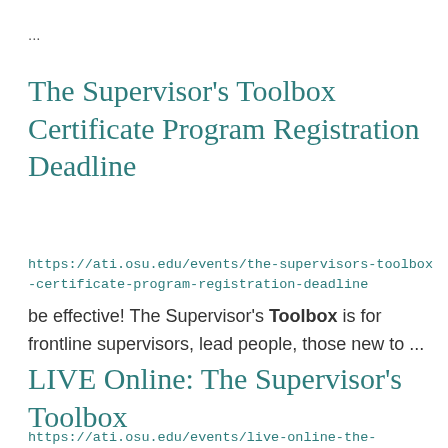...
The Supervisor's Toolbox Certificate Program Registration Deadline
https://ati.osu.edu/events/the-supervisors-toolbox-certificate-program-registration-deadline
be effective! The Supervisor's Toolbox is for frontline supervisors, lead people, those new to ...
LIVE Online: The Supervisor's Toolbox
https://ati.osu.edu/events/live-online-the-